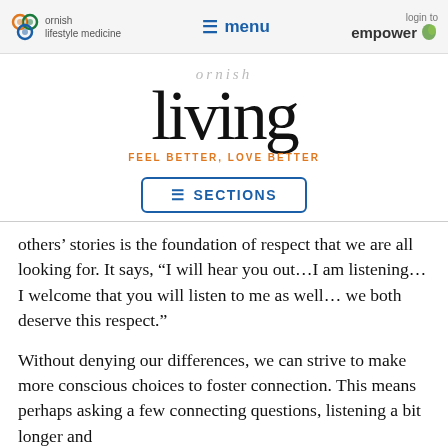ornish lifestyle medicine | menu | login to empower
[Figure (logo): Ornish Living logo with 'ornish' in gray italic above large 'living' in black serif font, with tagline 'FEEL BETTER, LOVE BETTER' in orange]
[Figure (screenshot): SECTIONS navigation button with hamburger icon, blue border]
others' stories is the foundation of respect that we are all looking for. It says, “I will hear you out…I am listening… I welcome that you will listen to me as well… we both deserve this respect.”
Without denying our differences, we can strive to make more conscious choices to foster connection. This means perhaps asking a few connecting questions, listening a bit longer and